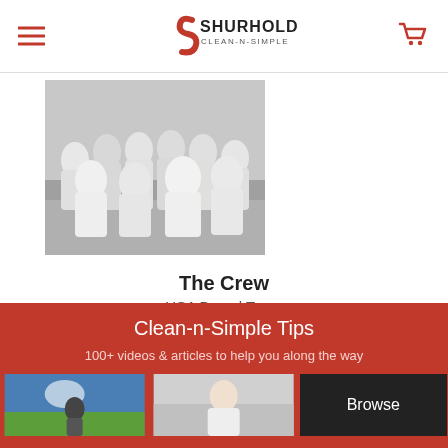Shurhold Clean-N-Simple
[Figure (photo): Black and white group photo of the Shurhold crew team wearing white shirts, posed together in what appears to be a warehouse]
The Crew
USA Based Team
Clean-n-Simple Tips
100+ videos & articles to help you along the way
[Figure (photo): Small thumbnail image (blue sky background)]
[Figure (photo): Small thumbnail image (man in white shirt)]
[Figure (other): Browse button dark tile]